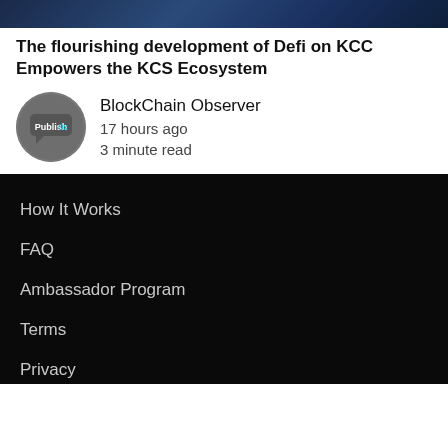[Figure (photo): Hero image with dark blue gradient background]
The flourishing development of Defi on KCC Empowers the KCS Ecosystem
[Figure (logo): Publish0x circular avatar logo in gray circle]
BlockChain Observer
17 hours ago
3 minute read
How It Works
FAQ
Ambassador Program
Terms
Privacy